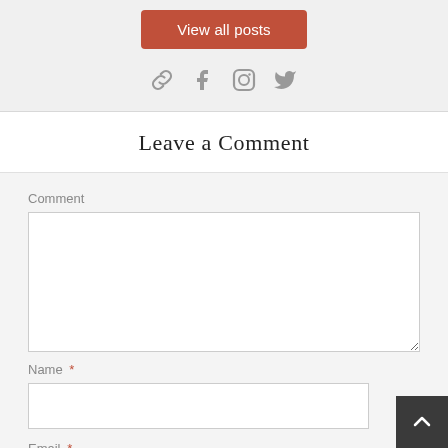View all posts
[Figure (infographic): Social media icons: link, Facebook, Instagram, Twitter]
Leave a Comment
Comment
Name *
Email *